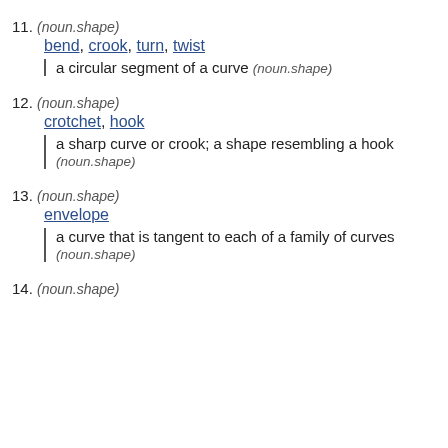11. (noun.shape)
bend, crook, turn, twist
a circular segment of a curve (noun.shape)
12. (noun.shape)
crotchet, hook
a sharp curve or crook; a shape resembling a hook (noun.shape)
13. (noun.shape)
envelope
a curve that is tangent to each of a family of curves (noun.shape)
14. (noun.shape)